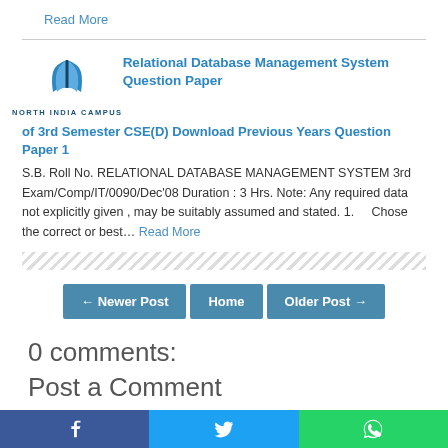Read More
[Figure (logo): North India Campus logo with blue book icon and text NORTH INDIA CAMPUS]
Relational Database Management System Question Paper of 3rd Semester CSE(D) Download Previous Years Question Paper 1
S.B. Roll No. RELATIONAL DATABASE MANAGEMENT SYSTEM 3rd Exam/Comp/IT/0090/Dec'08 Duration : 3 Hrs. Note: Any required data not explicitly given , may be suitably assumed and stated. 1.    Chose the correct or best... Read More
← Newer Post   Home   Older Post →
0 comments:
Post a Comment